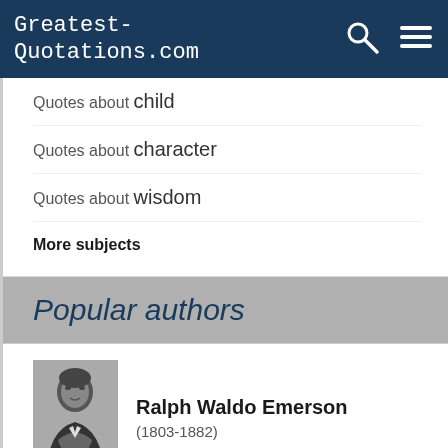Greatest-Quotations.com
Quotes about child
Quotes about character
Quotes about wisdom
More subjects
Popular authors
Ralph Waldo Emerson (1803-1882)
[Figure (photo): Black and white portrait photo of Ralph Waldo Emerson]